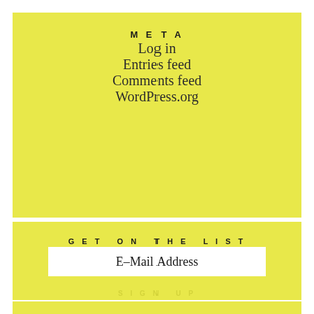META
Log in
Entries feed
Comments feed
WordPress.org
GET ON THE LIST
E-Mail Address
SIGN UP